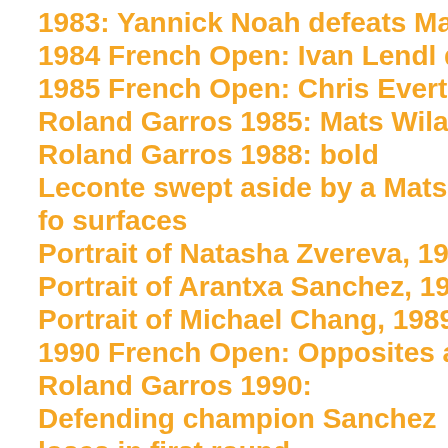1983: Yannick Noah defeats Mats Wilander
1984 French Open: Ivan Lendl defeats John McEnroe
1985 French Open: Chris Evert defeats Martina Navratilova
Roland Garros 1985: Mats Wilander defeats Ivan Lendl
Roland Garros 1988: bold Leconte swept aside by a Mats fo surfaces
Portrait of Natasha Zvereva, 1988 runner-up
Portrait of Arantxa Sanchez, 1989 French Open champion
Portrait of Michael Chang, 1989 French Open champion
1990 French Open: Opposites attract, Gomez defeats Agassi
Roland Garros 1990: Defending champion Sanchez loses in first round
Roland Garros 1990: Edberg and Becker lose in the first roun
1991 French Open 3RD: Michael Chang defeats Jimmy Conn
1991 French Open final: Jim Courier defeats Andre Agassi
1996: An unflinching Edberg causes a grand upset
Roland Garros 1996: Pete Sampras run through the semi-fina
1997: Going ga-ga over Guga
Steffi Graf – Martina Hingis Roland Garros 1999